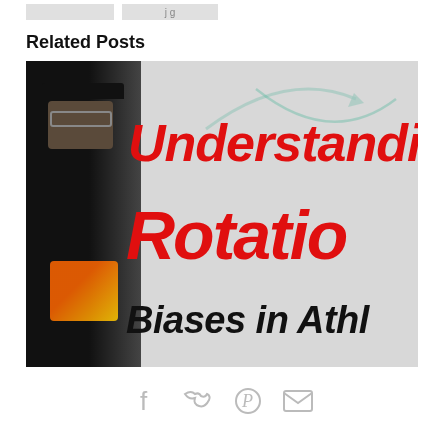Related Posts
[Figure (photo): Thumbnail image showing a person on the left side wearing a black cap, with bold red italic text reading 'Understanding Rotation Biases in Athle...' on a whiteboard background]
Social share icons: Facebook, Twitter, Pinterest, Email